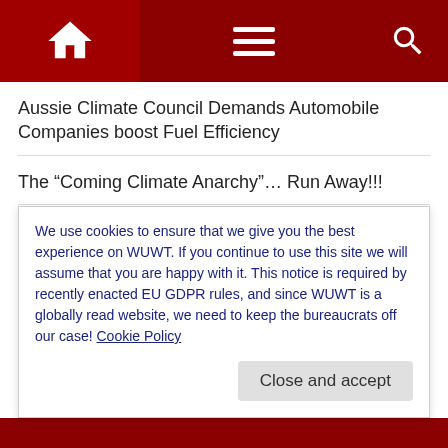WUWT navigation header with home, menu, and search icons
Aussie Climate Council Demands Automobile Companies boost Fuel Efficiency
The “Coming Climate Anarchy”… Run Away!!!
Jordan Peterson: Peddlers of Environmental Doom Have Shown Their True Totalitarian Colors
Charging Electric Cars Like “Spilling Liters of Petrol”… (Hidden) Losses During Charging Are Huge
We use cookies to ensure that we give you the best experience on WUWT. If you continue to use this site we will assume that you are happy with it. This notice is required by recently enacted EU GDPR rules, and since WUWT is a globally read website, we need to keep the bureaucrats off our case! Cookie Policy
Close and accept